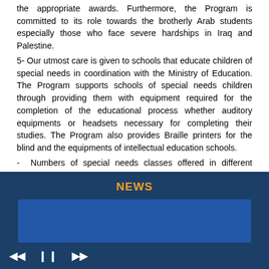the appropriate awards. Furthermore, the Program is committed to its role towards the brotherly Arab students especially those who face severe hardships in Iraq and Palestine.
5- Our utmost care is given to schools that educate children of special needs in coordination with the Ministry of Education. The Program supports schools of special needs children through providing them with equipment required for the completion of the educational process whether auditory equipments or headsets necessary for completing their studies. The Program also provides Braille printers for the blind and the equipments of intellectual education schools.
- Numbers of special needs classes offered in different governorates:
1- Education Directorate in Alexandria: 13Auditory -  2 Braille - 8 Intellectual
NEWS
[Figure (other): Blue news ticker/banner box with media player controls (rewind, pause, fast-forward) at the bottom on a dark navy background]